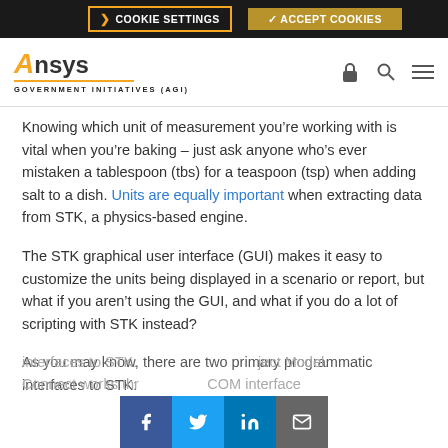COOKIE SETTINGS | ACCEPT COOKIES
[Figure (logo): Ansys logo with orange italic A, underline, and GOVERNMENT INITIATIVES (AGI) label]
Knowing which unit of measurement you’re working with is vital when you’re baking – just ask anyone who’s ever mistaken a tablespoon (tbs) for a teaspoon (tsp) when adding salt to a dish. Units are equally important when extracting data from STK, a physics-based engine.
The STK graphical user interface (GUI) makes it easy to customize the units being displayed in a scenario or report, but what if you aren’t using the GUI, and what if you do a lot of scripting with STK instead?
As you may know, there are two primary programmatic interfaces to STK: [Facebook][Twitter][LinkedIn][Email] ject Model. Connect works thr a t COM interface